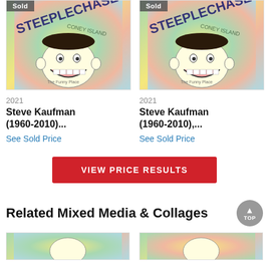[Figure (photo): Sold artwork thumbnail: Steve Kaufman Steeplechase Coney Island painting with cartoon grinning face, colorful background. 'Sold' badge top left.]
[Figure (photo): Sold artwork thumbnail: Steve Kaufman Steeplechase Coney Island painting with cartoon grinning face, colorful background. 'Sold' badge top left.]
2021
Steve Kaufman (1960-2010)...
See Sold Price
2021
Steve Kaufman (1960-2010),...
See Sold Price
VIEW PRICE RESULTS
Related Mixed Media & Collages
[Figure (photo): Partial thumbnail of related artwork, colorful, bottom of page.]
[Figure (photo): Partial thumbnail of related artwork, colorful, bottom of page.]